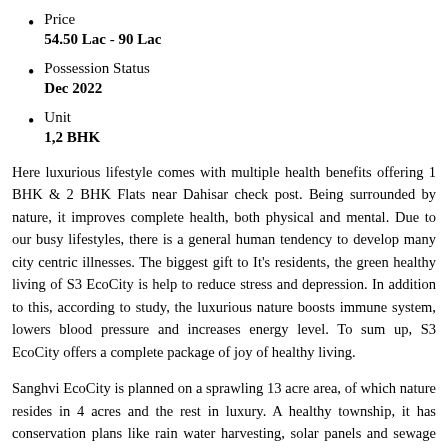Price
54.50 Lac - 90 Lac
Possession Status
Dec 2022
Unit
1,2 BHK
Here luxurious lifestyle comes with multiple health benefits offering 1 BHK & 2 BHK Flats near Dahisar check post. Being surrounded by nature, it improves complete health, both physical and mental. Due to our busy lifestyles, there is a general human tendency to develop many city centric illnesses. The biggest gift to It's residents, the green healthy living of S3 EcoCity is help to reduce stress and depression. In addition to this, according to study, the luxurious nature boosts immune system, lowers blood pressure and increases energy level. To sum up, S3 EcoCity offers a complete package of joy of healthy living.
Sanghvi EcoCity is planned on a sprawling 13 acre area, of which nature resides in 4 acres and the rest in luxury. A healthy township, it has conservation plans like rain water harvesting, solar panels and sewage treatment plant. It is a perfect blend of greenery,